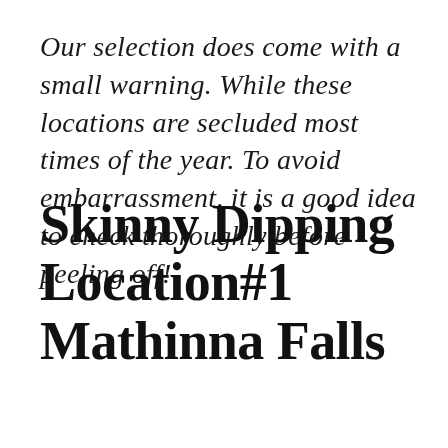Our selection does come with a small warning. While these locations are secluded most times of the year. To avoid embarrassment, it is a good idea to check thoroughly before peeling off!
Skinny Dipping Location#1 Mathinna Falls